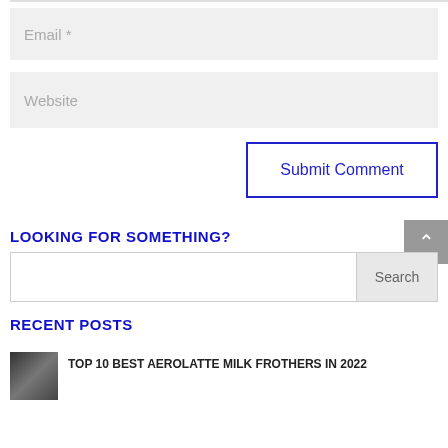Email *
Website
Submit Comment
LOOKING FOR SOMETHING?
Search
RECENT POSTS
TOP 10 BEST AEROLATTE MILK FROTHERS IN 2022